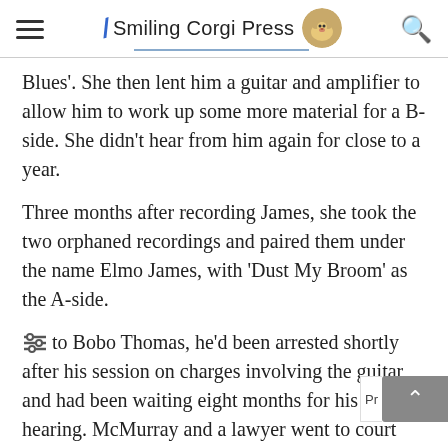Smiling Corgi Press
Blues'.  She then lent him a guitar and amplifier to allow him to work up some more material for a B-side.  She didn't hear from him again for close to a year.
Three months after recording James, she took the two orphaned recordings and paired them under the name Elmo James, with 'Dust My Broom' as the A-side.
to Bobo Thomas, he'd been arrested shortly after his session on charges involving the guitar, and had been waiting eight months for his hearing.  McMurray and a lawyer went to court with him and after pleading not guilty he was released.  The episode cost the label $250.00.  He never recorded again.)
** All of the releases of this show on the Castle